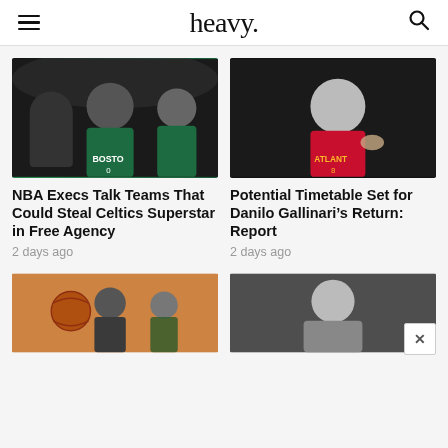heavy.
[Figure (photo): Boston Celtics players huddled together on court, players wearing green Boston jerseys]
NBA Execs Talk Teams That Could Steal Celtics Superstar in Free Agency
2 days ago
[Figure (photo): Atlanta Hawks player wearing red number 8 jersey on basketball court]
Potential Timetable Set for Danilo Gallinari’s Return: Report
2 days ago
[Figure (photo): Basketball player holding ball, teammates visible in background on court]
[Figure (photo): Basketball player in grey/blue jersey, portrait shot]